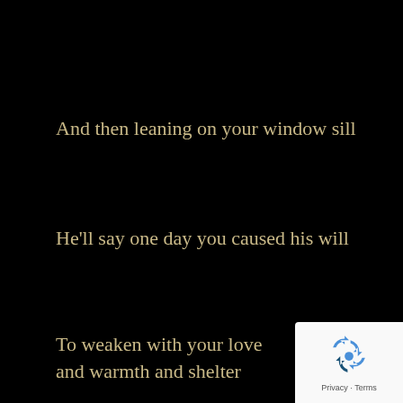And then leaning on your window sill
He'll say one day you caused his will
To weaken with your love and warmth and shelter
[Figure (logo): Google reCAPTCHA badge with recycling-arrow icon and Privacy · Terms footer text]